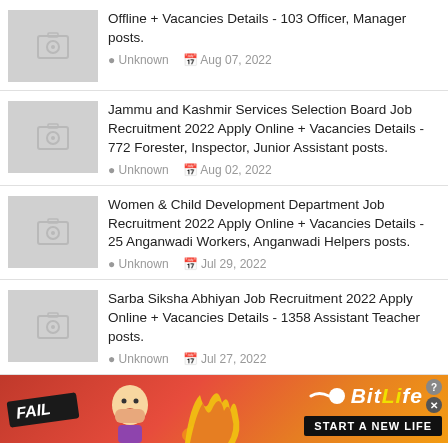Offline + Vacancies Details - 103 Officer, Manager posts.
Unknown  Aug 07, 2022
Jammu and Kashmir Services Selection Board Job Recruitment 2022 Apply Online + Vacancies Details - 772 Forester, Inspector, Junior Assistant posts.
Unknown  Aug 02, 2022
Women & Child Development Department Job Recruitment 2022 Apply Online + Vacancies Details - 25 Anganwadi Workers, Anganwadi Helpers posts.
Unknown  Jul 29, 2022
Sarba Siksha Abhiyan Job Recruitment 2022 Apply Online + Vacancies Details - 1358 Assistant Teacher posts.
Unknown  Jul 27, 2022
[Figure (other): BitLife advertisement banner with FAIL text, cartoon character, flames, and START A NEW LIFE button]
Recruitment 2022 Apply Online + Vacancies Details - 24 Food Safety Officer posts.